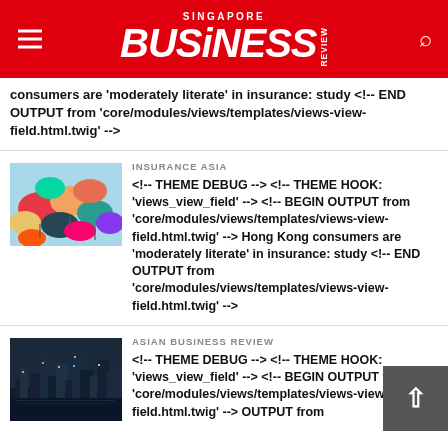SINGAPORE BUSINESS REVIEW
consumers are 'moderately literate' in insurance: study <!-- END OUTPUT from 'core/modules/views/templates/views-view-field.html.twig' -->
INSURANCE ASIA
<!-- THEME DEBUG --> <!-- THEME HOOK: 'views_view_field' --> <!-- BEGIN OUTPUT from 'core/modules/views/templates/views-view-field.html.twig' --> Hong Kong consumers are 'moderately literate' in insurance: study <!-- END OUTPUT from 'core/modules/views/templates/views-view-field.html.twig' -->
ASIAN BUSINESS REVIEW
<!-- THEME DEBUG --> <!-- THEME HOOK: 'views_view_field' --> <!-- BEGIN OUTPUT from 'core/modules/views/templates/views-view-field.html.twig' -->